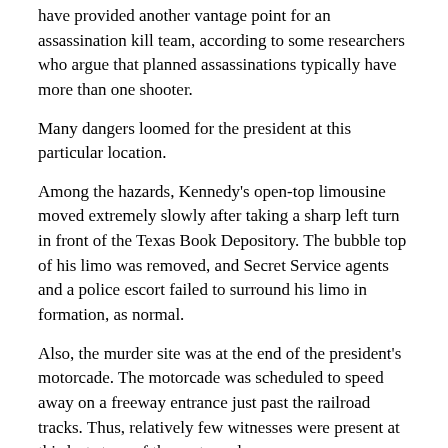have provided another vantage point for an assassination kill team, according to some researchers who argue that planned assassinations typically have more than one shooter.
Many dangers loomed for the president at this particular location.
Among the hazards, Kennedy's open-top limousine moved extremely slowly after taking a sharp left turn in front of the Texas Book Depository. The bubble top of his limo was removed, and Secret Service agents and a police escort failed to surround his limo in formation, as normal.
Also, the murder site was at the end of the president's motorcade. The motorcade was scheduled to speed away on a freeway entrance just past the railroad tracks. Thus, relatively few witnesses were present at this last stage of the motorcade.
Warren Commission Defenders
The Warren Commission and two top counsel are shown below left.